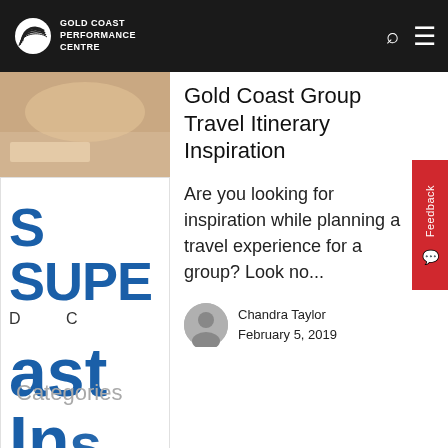Gold Coast Performance Centre
[Figure (photo): Left-side image column showing partial text overlay with blue letters 'S SUPER', 'D C', 'ast', 'In' on white background, and a photo of hands at top]
Gold Coast Group Travel Itinerary Inspiration
Are you looking for inspiration while planning a travel experience for a group? Look no...
Chandra Taylor
February 5, 2019
Categories